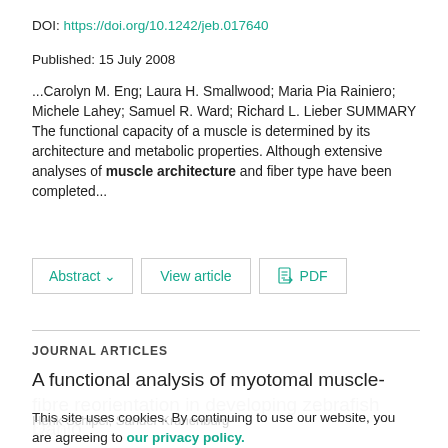DOI: https://doi.org/10.1242/jeb.017640
Published: 15 July 2008
...Carolyn M. Eng; Laura H. Smallwood; Maria Pia Rainiero; Michele Lahey; Samuel R. Ward; Richard L. Lieber SUMMARY The functional capacity of a muscle is determined by its architecture and metabolic properties. Although extensive analyses of muscle architecture and fiber type have been completed...
Abstract ∨   View article   PDF
JOURNAL ARTICLES
A functional analysis of myotomal muscle-fibre reorientation in developing zebrafish Danio rerio
This site uses cookies. By continuing to use our website, you are agreeing to our privacy policy. Accept